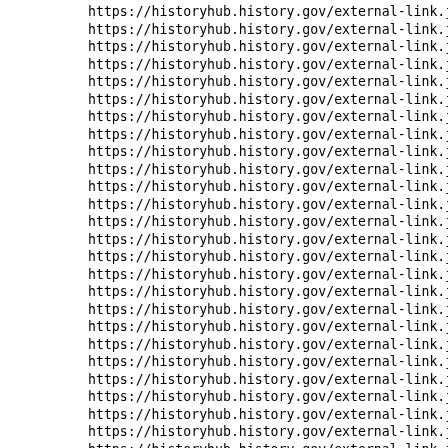https://historyhub.history.gov/external-link.jspa?url=https
https://historyhub.history.gov/external-link.jspa?url=https
https://historyhub.history.gov/external-link.jspa?url=https
https://historyhub.history.gov/external-link.jspa?url=https
https://historyhub.history.gov/external-link.jspa?url=http:
https://historyhub.history.gov/external-link.jspa?url=http:
https://historyhub.history.gov/external-link.jspa?url=https
https://historyhub.history.gov/external-link.jspa?url=http:
https://historyhub.history.gov/external-link.jspa?url=http:
https://historyhub.history.gov/external-link.jspa?url=https
https://historyhub.history.gov/external-link.jspa?url=http:
https://historyhub.history.gov/external-link.jspa?url=http:
https://historyhub.history.gov/external-link.jspa?url=https
https://historyhub.history.gov/external-link.jspa?url=http:
https://historyhub.history.gov/external-link.jspa?url=https
https://historyhub.history.gov/external-link.jspa?url=https
https://historyhub.history.gov/external-link.jspa?url=http:
https://historyhub.history.gov/external-link.jspa?url=https
https://historyhub.history.gov/external-link.jspa?url=https
https://historyhub.history.gov/external-link.jspa?url=http:
https://historyhub.history.gov/external-link.jspa?url=http:
https://historyhub.history.gov/external-link.jspa?url=http:
https://historyhub.history.gov/external-link.jspa?url=https
https://historyhub.history.gov/external-link.jspa?url=http:
https://historyhub.history.gov/external-link.jspa?url=https
https://historyhub.history.gov/external-link.jspa?url=https
https://historyhub.history.gov/external-link.jspa?url=http:
https://historyhub.history.gov/external-link.jspa?url=https
https://historyhub.history.gov/external-link.jspa?url=https
https://historyhub.history.gov/external-link.jspa?url=https